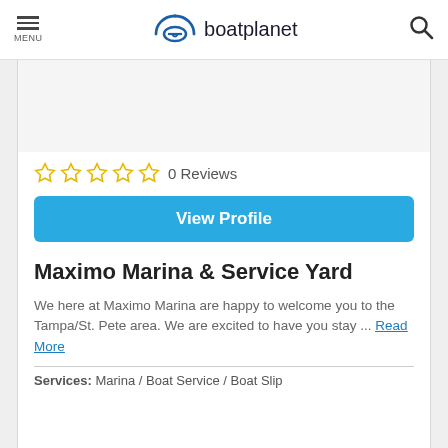MENU | boatplanet (logo) | search icon
[Figure (other): Gray placeholder image area at top of marina listing card]
☆☆☆☆☆ 0 Reviews
View Profile
Maximo Marina & Service Yard
We here at Maximo Marina are happy to welcome you to the Tampa/St. Pete area. We are excited to have you stay ... Read More
Services: Marina / Boat Service / Boat Slip